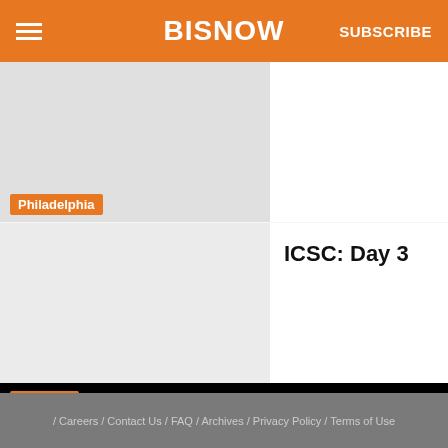BISNOW | SUBSCRIBE
[Figure (screenshot): Philadelphia card image placeholder]
Philadelphia
ICSC: Day 3
Houston
LOAD MORE STUFF
/ Careers / Contact Us / FAQ / Archives / Privacy Policy / Terms of Use